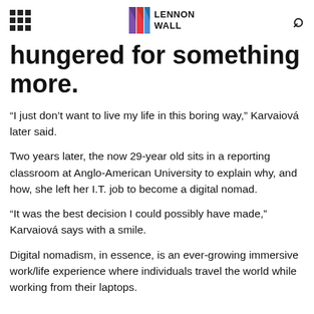LENNON WALL
hungered for something more.
“I just don’t want to live my life in this boring way,” Karvaiová later said.
Two years later, the now 29-year old sits in a reporting classroom at Anglo-American University to explain why, and how, she left her I.T. job to become a digital nomad.
“It was the best decision I could possibly have made,” Karvaiová says with a smile.
Digital nomadism, in essence, is an ever-growing immersive work/life experience where individuals travel the world while working from their laptops.